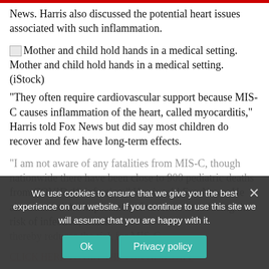News. Harris also discussed the potential heart issues associated with such inflammation.
[Figure (photo): Broken image icon for: Mother and child hold hands in a medical setting. Caption text: Mother and child hold hands in a medical setting. (iStock)]
“They often require cardiovascular support because MIS-C causes inflammation of the heart, called myocarditis,” Harris told Fox News but did say most children do recover and few have long-term effects.
“I am not aware of any fatalities from MIS-C, though nationwide there have been close to 900 pediatric deaths from COVID-19 infection,” Harris told Fox News. He also stressed the importance of vaccines in reducing the risk of infection, which thereby reduces the risk for MIS-C.
CLICK HERE TO GET THE FOX NEWS APP
“While MIS-C is a rare complication, children can get incredibly sick, and it is likely that more robust
We use cookies to ensure that we give you the best experience on our website. If you continue to use this site we will assume that you are happy with it.